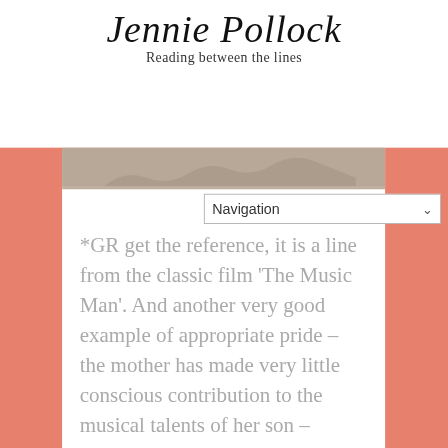Jennie Pollock — Reading between the lines
[Figure (screenshot): Partial cropped image/banner at top of content area below the header]
*GR[...] get the reference, it is a line from the classic film 'The Music Man'. And another very good example of appropriate pride – the mother has made very little conscious contribution to the musical talents of her son – though she may have bought his instrument and encouraged him to practise, the particular combination of genes that gave him the innate ability was completely out of her hands, yet we would think her unnatural, if not inhuman, if she did not express pride in his achievement